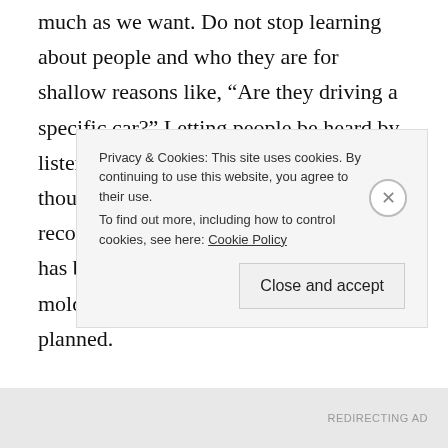much as we want. Do not stop learning about people and who they are for shallow reasons like, "Are they driving a specific car?" Letting people be heard by listening to them is not the end goal though. It is from this point that we recognize the inherit value each person has being formed by the Potters hand. His mold is perfect and has been eternally planned.
All glory is deserved by God alone. When this is viewed as our main aim, as our only sustainable
Privacy & Cookies: This site uses cookies. By continuing to use this website, you agree to their use.
To find out more, including how to control cookies, see here: Cookie Policy

Close and accept
REDIRECTING AD